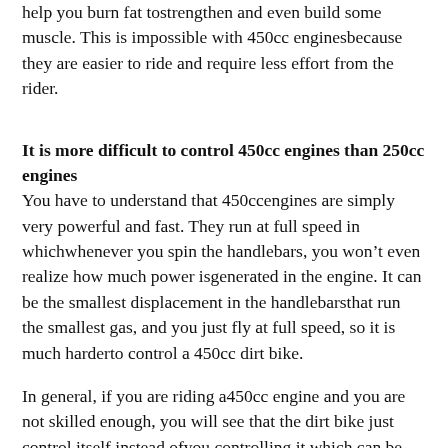help you burn fat tostrengthen and even build some muscle. This is impossible with 450cc enginesbecause they are easier to ride and require less effort from the rider.
It is more difficult to control 450cc engines than 250cc engines
You have to understand that 450ccengines are simply very powerful and fast. They run at full speed in whichwhenever you spin the handlebars, you won’t even realize how much power isgenerated in the engine. It can be the smallest displacement in the handlebarsthat run the smallest gas, and you just fly at full speed, so it is much harderto control a 450cc dirt bike.
In general, if you are riding a450cc engine and you are not skilled enough, you will see that the dirt bike just control itself instead ofyou controlling it which can be very dangerous and which is exactly why